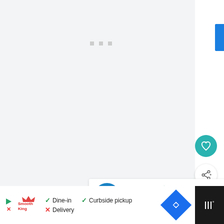[Figure (screenshot): A mostly blank/loading web page area with a light grey background and three small grey dots indicating a loading state. A blue vertical bar is on the right edge.]
[Figure (screenshot): Teal circular heart/favorite button (white heart icon)]
[Figure (screenshot): White circular share button with share icon]
[Figure (screenshot): WHAT'S NEXT panel with circular blog icon and text 'When Bloggers St...']
[Figure (screenshot): Advertisement bar: Smoothie King ad showing Dine-in (checkmark), Curbside pickup (checkmark), Delivery (X), with navigation icon and dark right panel with logo]